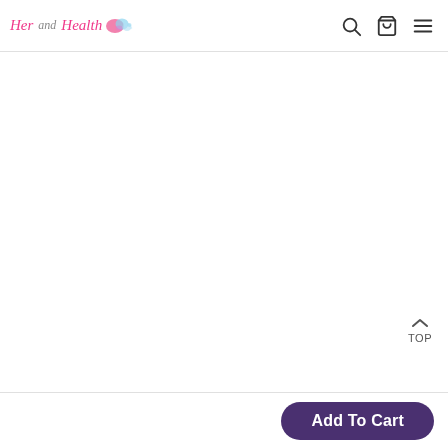Her and Health [logo with colorful blob] [search icon] [cart icon] [menu icon]
TOP
Add To Cart